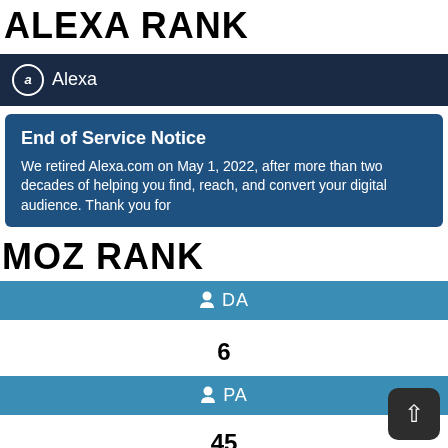ALEXA RANK
[Figure (screenshot): Alexa branded header bar with Alexa logo and text on dark navy background]
[Figure (screenshot): Alexa End of Service Notice box with heading 'End of Service Notice' and text about retiring Alexa.com on May 1, 2022]
MOZ RANK
[Figure (screenshot): MOZ DA (Domain Authority) teal bar with person icon and DA label]
6
[Figure (screenshot): MOZ PA (Page Authority) teal bar with person icon and PA label]
45